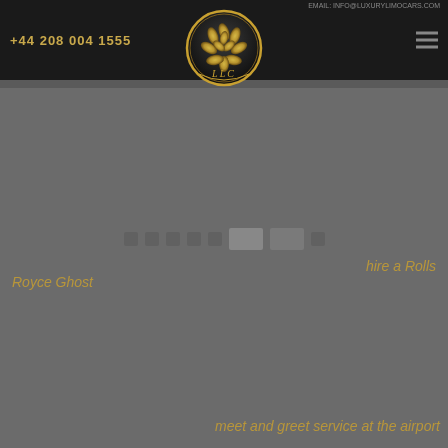+44 208 004 1555
[Figure (logo): LLC luxury car company logo, circular gold emblem with leaf/floral motif and LLC text]
hire a Rolls Royce Ghost
meet and greet service at the airport